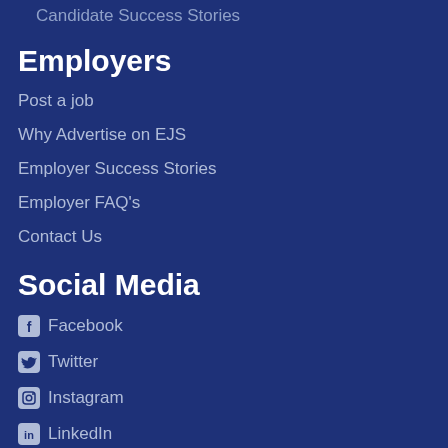Candidate Success Stories
Employers
Post a job
Why Advertise on EJS
Employer Success Stories
Employer FAQ's
Contact Us
Social Media
Facebook
Twitter
Instagram
LinkedIn